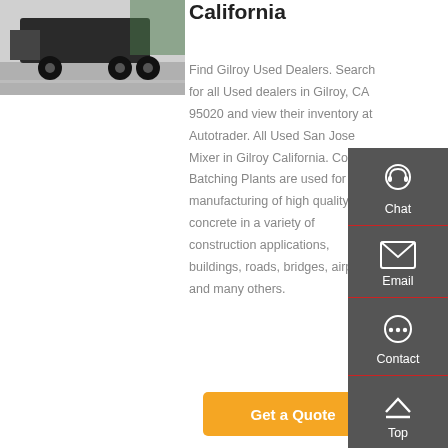[Figure (photo): Rear view of a heavy truck/mixer vehicle on a road]
California
Find Gilroy Used Dealers. Search for all Used dealers in Gilroy, CA 95020 and view their inventory at Autotrader. All Used San Jose Mixer in Gilroy California. Concrete Batching Plants are used for manufacturing of high quality concrete in a variety of construction applications, buildings, roads, bridges, airports and many others.
[Figure (infographic): Sidebar panel with Chat, Email, Contact, and Top navigation buttons on dark grey background]